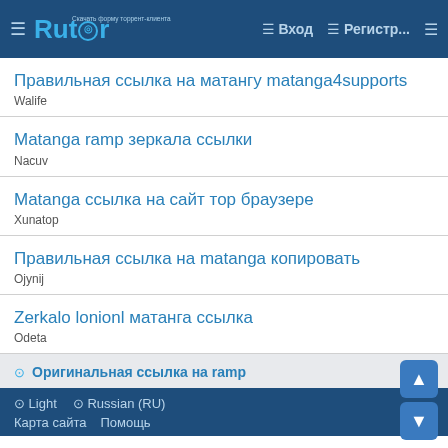Rutor — Вход — Регистр...
Правильная ссылка на матангу matanga4supports
Walife
Matanga ramp зеркала ссылки
Nacuv
Matanga ссылка на сайт тор браузере
Xunatop
Правильная ссылка на matanga копировать
Ojynij
Zerkalo lonionl матанга ссылка
Odeta
⊙ Оригинальная ссылка на ramp
⊙ Light   ⊙ Russian (RU)
Карта сайта   Помощь